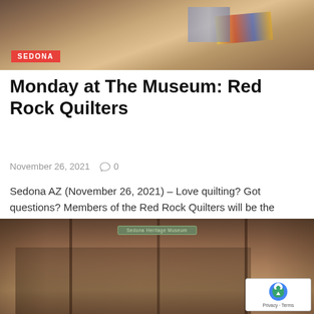[Figure (photo): Top portion of page showing people quilting with colorful fabrics, partially visible]
SEDONA
Monday at The Museum: Red Rock Quilters
November 26, 2021   ○ 0
Sedona AZ (November 26, 2021) – Love quilting? Got questions? Members of the Red Rock Quilters will be the featured…
[Figure (photo): Group photo of people in historical costumes standing in front of the Sedona Heritage Museum wooden building entrance]